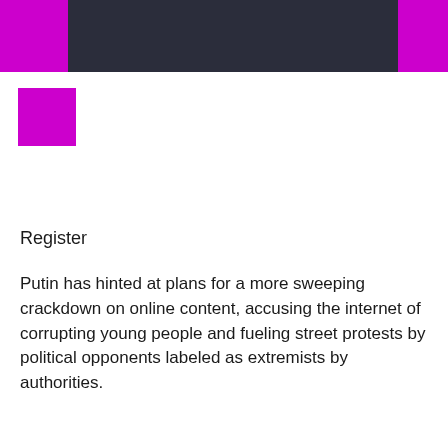[Figure (logo): Magenta square logo]
Register
Putin has hinted at plans for a more sweeping crackdown on online content, accusing the internet of corrupting young people and fueling street protests by political opponents labeled as extremists by authorities.
Russia stepped up pressure on foreign tech companies last year, imposing sanctions including a nearly $100 million fine on Google (GOOGL.O) for failing to remove banned content. Read more
In December, Putin signaled his support for a proposal by a member of his human rights council for a new voluntary